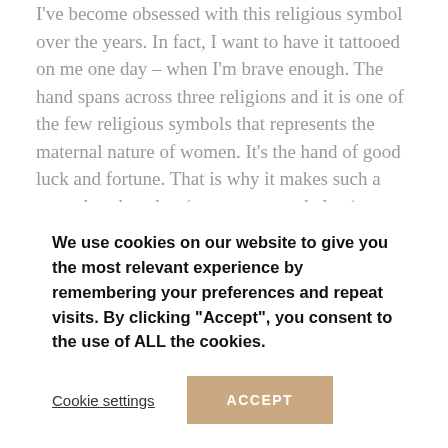I've become obsessed with this religious symbol over the years. In fact, I want to have it tattooed on me one day – when I'm brave enough. The hand spans across three religions and it is one of the few religious symbols that represents the maternal nature of women. It's the hand of good luck and fortune. That is why it makes such a great door knocker (as you can see below). I bought a silver one last year that I hang above my front door to protect me from burglars (it's working!) You'll start spotting the hands on doors, on jewellery, on bags and even in henna designs.
We use cookies on our website to give you the most relevant experience by remembering your preferences and repeat visits. By clicking "Accept", you consent to the use of ALL the cookies.
Cookie settings
ACCEPT